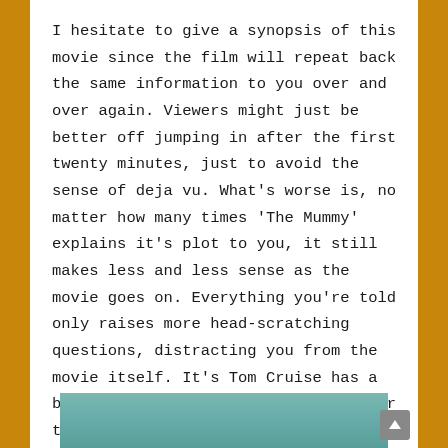I hesitate to give a synopsis of this movie since the film will repeat back the same information to you over and over again. Viewers might just be better off jumping in after the first twenty minutes, just to avoid the sense of deja vu. What's worse is, no matter how many times 'The Mummy' explains it's plot to you, it still makes less and less sense as the movie goes on. Everything you're told only raises more head-scratching questions, distracting you from the movie itself. It's Tom Cruise has a bewildered expression on his face for the whole movie.
[Figure (photo): Partial photo visible at bottom of page, showing what appears to be a face/person]